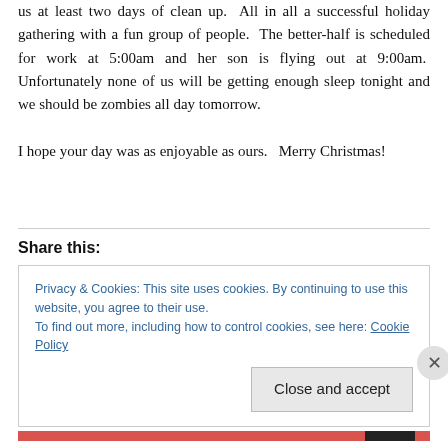us at least two days of clean up.  All in all a successful holiday gathering with a fun group of people.  The better-half is scheduled for work at 5:00am and her son is flying out at 9:00am.  Unfortunately none of us will be getting enough sleep tonight and we should be zombies all day tomorrow.
I hope your day was as enjoyable as ours.  Merry Christmas!
Share this:
Privacy & Cookies: This site uses cookies. By continuing to use this website, you agree to their use.
To find out more, including how to control cookies, see here: Cookie Policy
Close and accept